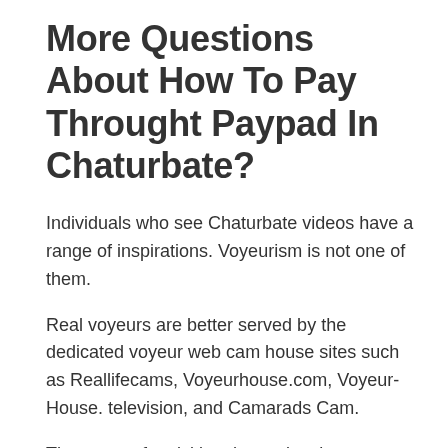More Questions About How To Pay Throught Paypad In Chaturbate?
Individuals who see Chaturbate videos have a range of inspirations. Voyeurism is not one of them.
Real voyeurs are better served by the dedicated voyeur web cam house sites such as Reallifecams, Voyeurhouse.com, Voyeur-House. television, and Camarads Cam.
The reason for visiting these sites is to engage with the attractive designs who often use live chats, picture shoots, and even sex.
The Internet of Things (IoT) is a term used to explain the next generation of connected gadgets such as appliances, vehicles, drones, and physical fitness trackers.
Nevertheless, the world of IoT is significantly underappreciated. A